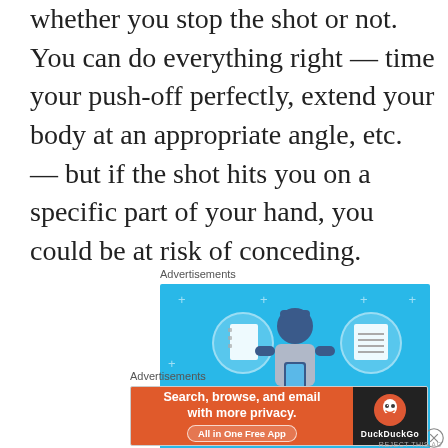whether you stop the shot or not. You can do everything right — time your push-off perfectly, extend your body at an appropriate angle, etc. — but if the shot hits you on a specific part of your hand, you could be at risk of conceding.
Advertisements
[Figure (illustration): Day One app advertisement with blue background showing a person holding a phone flanked by two notebook icons in circles, with 'DAY ONE' text at bottom]
Advertisements
[Figure (illustration): DuckDuckGo advertisement: orange left panel with text 'Search, browse, and email with more privacy. All in One Free App' and dark right panel with DuckDuckGo logo and name]